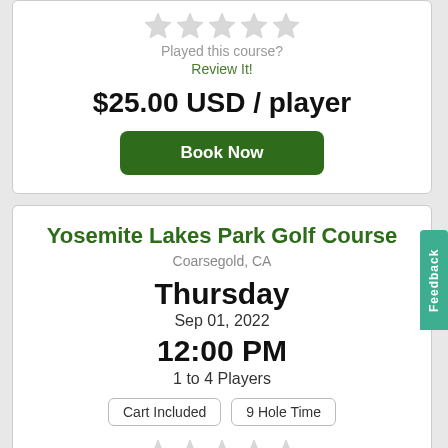[Figure (other): Five empty/gray star rating icons]
Played this course?
Review It!
$25.00 USD / player
Book Now
Yosemite Lakes Park Golf Course
Coarsegold, CA
Thursday
Sep 01, 2022
12:00 PM
1 to 4 Players
Cart Included
9 Hole Time
[Figure (other): Five empty/gray star rating icons]
Played this course?